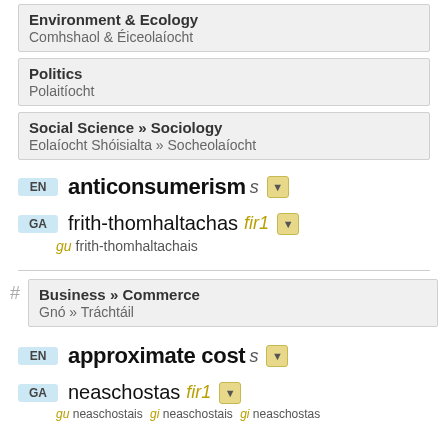Environment & Ecology
Comhshaol & Éiceolaíocht
Politics
Polaitíocht
Social Science » Sociology
Eolaíocht Shóisialta » Socheolaíocht
EN anticonsumerism s [dropdown]
GA frith-thomhaltachas fir1 [dropdown]
gu frith-thomhaltachais
# Business » Commerce
Gnó » Tráchtáil
EN approximate cost s [dropdown]
GA neaschostas fir1 [dropdown]
gu neaschostais gi neaschostais gi neaschostas